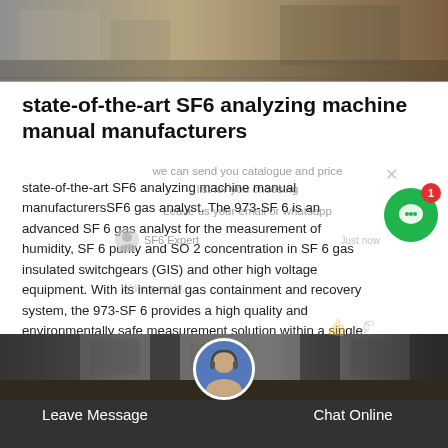[Figure (photo): Top photo strip showing industrial/metal surface, partial view of equipment]
state-of-the-art SF6 analyzing machine manual manufacturers
state-of-the-art SF6 analyzing machine manual manufacturersSF6 gas analyst. The 973-SF 6 is an advanced SF 6 gas analyst for the measurement of humidity, SF 6 purity and SO 2 concentration in SF 6 gas insulated switchgears (GIS) and other high voltage equipment. With its internal gas containment and recovery system, the 973-SF 6 provides a high quality and environmentally safe measurement solution within a single self-contained unit.
[Figure (screenshot): Chat popup overlay with text: we can send you catalogue and price list for you choosing, Leave us your email or whatsapp, SF6 Expert, Just now, Write a reply. Green chat bubble with badge 1. Close X button.]
Get Price
[Figure (photo): Bottom photo strip showing industrial equipment/switchgear facility]
Leave Message
Chat Online